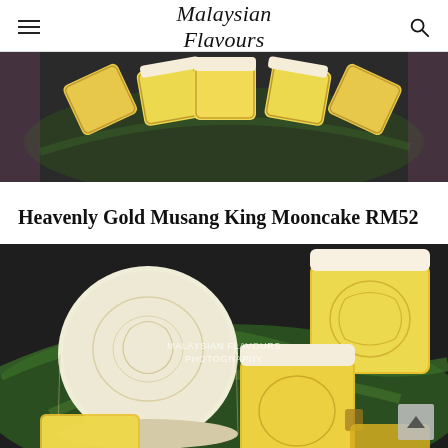Malaysian Flavours
[Figure (photo): Top-down photo of sliced yellow mooncakes (Musang King durian flavour) arranged on a dark plate with green banana leaf, showing golden custard-yellow filling.]
Heavenly Gold Musang King Mooncake RM52
[Figure (photo): Close-up photo of whole white snow-skin mooncake and several cut square pieces showing bright yellow creamy Musang King durian filling, arranged on green banana leaves on a dark plate. Watermark reads 'Malaysian Flavours Photography'.]